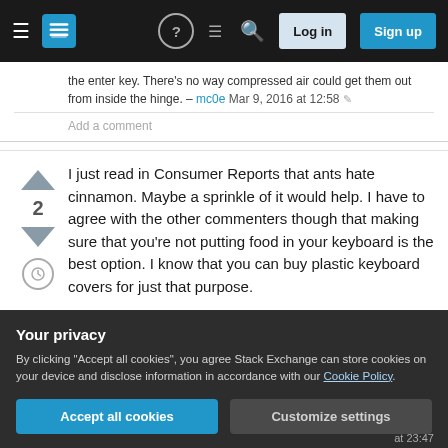Stack Exchange navigation bar with hamburger menu, logo, help, chat, search icons, Log in and Sign up buttons
the enter key. There's no way compressed air could get them out from inside the hinge. – mc0e Mar 9, 2016 at 12:58
Add a comment
I just read in Consumer Reports that ants hate cinnamon. Maybe a sprinkle of it would help. I have to agree with the other commenters though that making sure that you're not putting food in your keyboard is the best option. I know that you can buy plastic keyboard covers for just that purpose.
Your privacy
By clicking "Accept all cookies", you agree Stack Exchange can store cookies on your device and disclose information in accordance with our Cookie Policy.
Accept all cookies
Customize settings
at 23:47